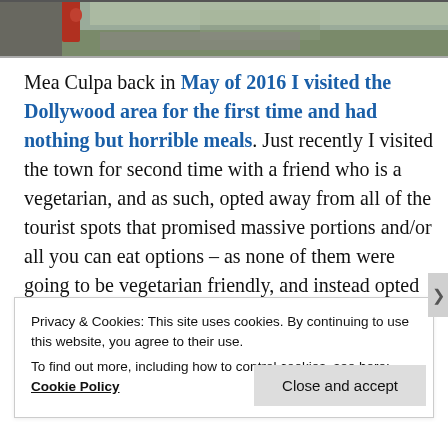[Figure (photo): Partial photo at top of page showing an outdoor scene with reddish tones and natural lighting]
Mea Culpa back in May of 2016 I visited the Dollywood area for the first time and had nothing but horrible meals. Just recently I visited the town for second time with a friend who is a vegetarian, and as such, opted away from all of the tourist spots that promised massive portions and/or all you can eat options – as none of them were going to be vegetarian friendly, and instead opted for smaller local/places that offered normal sized meals where we cold pick and choose … and
Privacy & Cookies: This site uses cookies. By continuing to use this website, you agree to their use.
To find out more, including how to control cookies, see here: Cookie Policy
Close and accept